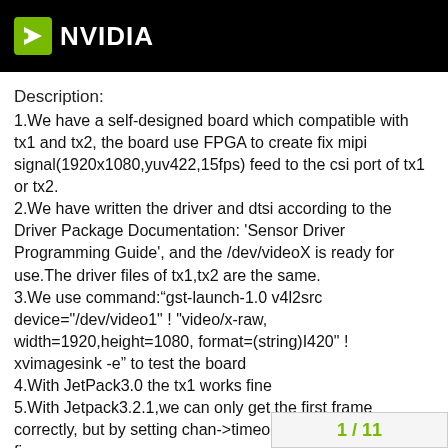NVIDIA
Description:
1.We have a self-designed board which compatible with tx1 and tx2, the board use FPGA to create fix mipi signal(1920x1080,yuv422,15fps) feed to the csi port of tx1 or tx2.
2.We have written the driver and dtsi according to the Driver Package Documentation: 'Sensor Driver Programming Guide', and the /dev/videoX is ready for use.The driver files of tx1,tx2 are the same.
3.We use command:“gst-launch-1.0 v4l2src device="/dev/video1" ! "video/x-raw, width=1920,height=1080, format=(string)I420" ! xvimagesink -e” to test the board
4.With JetPack3.0 the tx1 works fine
5.With Jetpack3.2.1,we can only get the first frame correctly, but by setting chan->timeout=200, tx1 still works fine.
6.With Jetpack3.2.1,we can only get the first frame correctly, setting chan->timeout=200 is
1 / 11